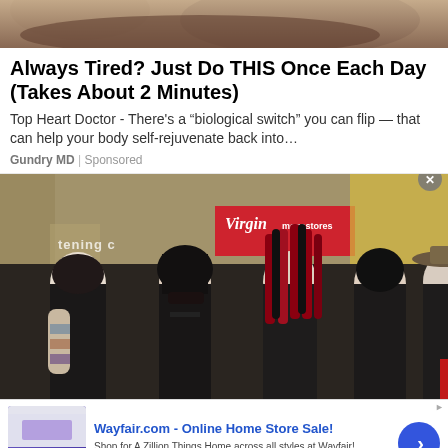[Figure (photo): Cropped top portion of an image showing what appears to be a person or food item, sepia/brown tones]
Always Tired? Just Do THIS Once Each Day (Takes About 2 Minutes)
Top Heart Doctor - There's a “biological switch” you can flip — that can help your body self-rejuvenate back into…
Gundry MD | Sponsored
[Figure (photo): Group photo of a gothic/metal band (5 members) posing in front of Virgin Megastore backdrop. Members wearing black clothing, with dark hair, one with red dreadlocks, one wearing a cowboy hat. Tattoos visible on one member.]
[Figure (screenshot): Advertisement banner for Wayfair.com showing bedroom furniture. Title: Wayfair.com - Online Home Store Sale! Description: Shop for A Zillion Things Home across all styles at Wayfair! URL: www.wayfair.com. Blue arrow button on right.]